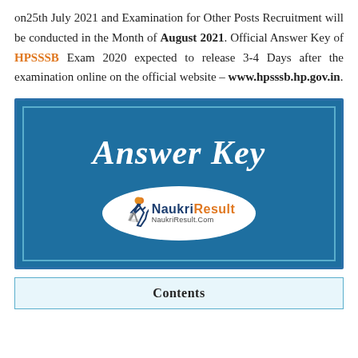on25th July 2021 and Examination for Other Posts Recruitment will be conducted in the Month of August 2021. Official Answer Key of HPSSSB Exam 2020 expected to release 3-4 Days after the examination online on the official website – www.hpsssb.hp.gov.in.
[Figure (illustration): Dark blue banner image with white italic bold text 'Answer Key' and NaukriResult.com oval logo at the bottom center.]
Contents